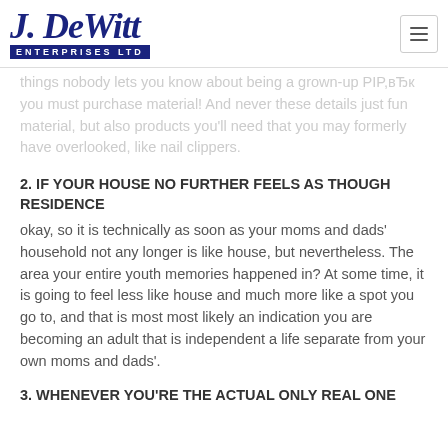J. DeWitt ENTERPRISES LTD
things nobody lets you know about being a grown-up PIP,вЂк you must purchase material! And never these details just fun material, but also products you'll need that you may formerly have overlooked, like nail clippers.
2. IF YOUR HOUSE NO FURTHER FEELS AS THOUGH RESIDENCE
okay, so it is technically as soon as your moms and dads' household not any longer is like house, but nevertheless. The area your entire youth memories happened in? At some time, it is going to feel less like house and much more like a spot you go to, and that is most most likely an indication you are becoming an adult that is independent a life separate from your own moms and dads'.
3. WHENEVER YOU'RE THE ACTUAL ONLY REAL ONE